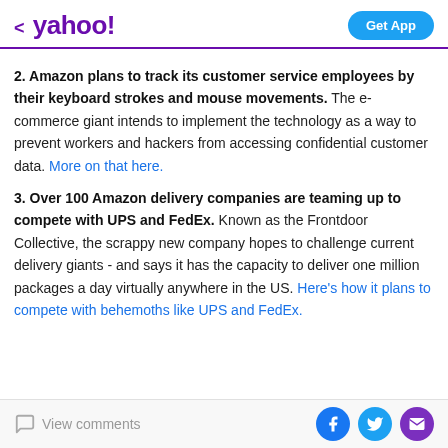< yahoo! | Get App
2. Amazon plans to track its customer service employees by their keyboard strokes and mouse movements. The e-commerce giant intends to implement the technology as a way to prevent workers and hackers from accessing confidential customer data. More on that here.
3. Over 100 Amazon delivery companies are teaming up to compete with UPS and FedEx. Known as the Frontdoor Collective, the scrappy new company hopes to challenge current delivery giants - and says it has the capacity to deliver one million packages a day virtually anywhere in the US. Here's how it plans to compete with behemoths like UPS and FedEx.
View comments